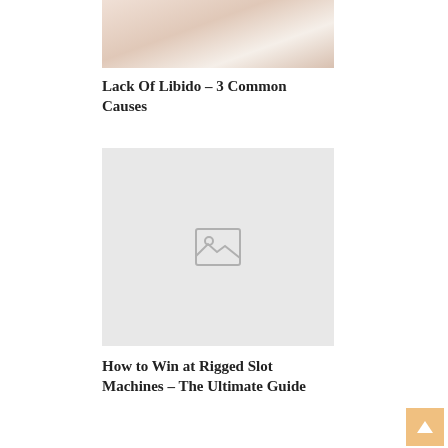[Figure (photo): Partial view of two people sitting together, wearing white clothing, with arms visible]
Lack Of Libido – 3 Common Causes
[Figure (photo): Placeholder image with broken image icon on light grey background]
How to Win at Rigged Slot Machines – The Ultimate Guide